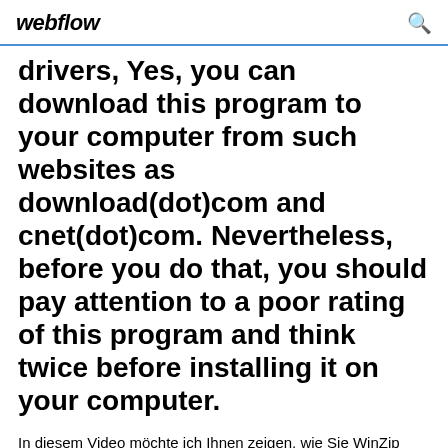webflow
drivers, Yes, you can download this program to your computer from such websites as download(dot)com and cnet(dot)com. Nevertheless, before you do that, you should pay attention to a poor rating of this program and think twice before installing it on your computer.
In diesem Video möchte ich Ihnen zeigen, wie Sie WinZip Driver Updater unter Windows 10 deinstallieren.-----Über eine Bewertung und